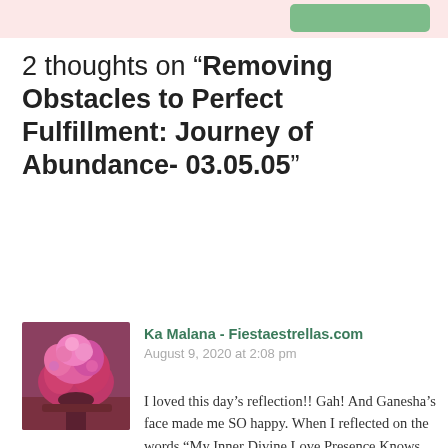2 thoughts on “Removing Obstacles to Perfect Fulfillment: Journey of Abundance- 03.05.05”
[Figure (photo): Avatar image of a pink/red flowering tree against a reddish-brown landscape]
Ka Malana - Fiestaestrellas.com
August 9, 2020 at 2:08 pm
I loved this day’s reflection!! Gah! And Ganesha’s face made me SO happy. When I reflected on the words “My Inner Divine Love Presence Knows what I need or desire before I do.” I felt the struggle of consumerism and the anger I feel for all the advertisements in my life